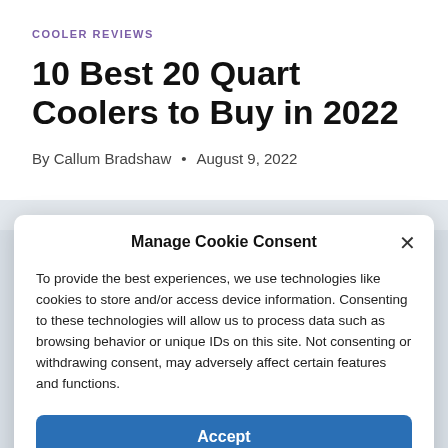COOLER REVIEWS
10 Best 20 Quart Coolers to Buy in 2022
By Callum Bradshaw • August 9, 2022
Manage Cookie Consent
To provide the best experiences, we use technologies like cookies to store and/or access device information. Consenting to these technologies will allow us to process data such as browsing behavior or unique IDs on this site. Not consenting or withdrawing consent, may adversely affect certain features and functions.
Accept
Cookie Policy